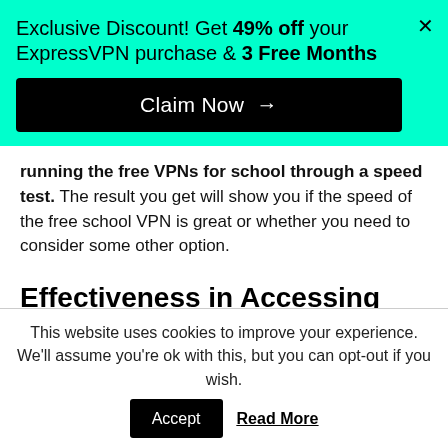Exclusive Discount! Get 49% off your ExpressVPN purchase & 3 Free Months
Claim Now →
running the free VPNs for school through a speed test. The result you get will show you if the speed of the free school VPN is great or whether you need to consider some other option.
Effectiveness in Accessing School WiFi
This website uses cookies to improve your experience. We'll assume you're ok with this, but you can opt-out if you wish. Accept Read More